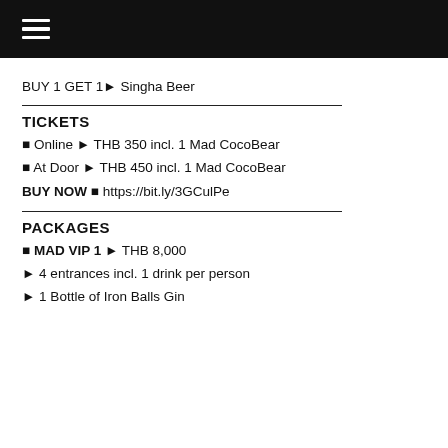☰
BUY 1 GET 1 ▶ Singha Beer
TICKETS
▶ Online ► THB 350 incl. 1 Mad CocoBear
▶ At Door ► THB 450 incl. 1 Mad CocoBear
BUY NOW ▶ https://bit.ly/3GCulPe
PACKAGES
▶ MAD VIP 1 ► THB 8,000
► 4 entrances incl. 1 drink per person
► 1 Bottle of Iron Balls Gin